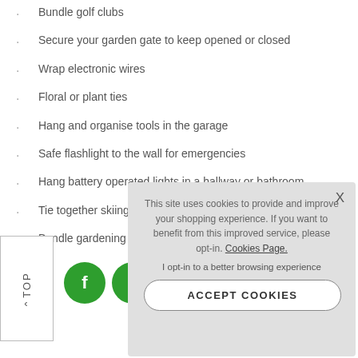Bundle golf clubs
Secure your garden gate to keep opened or closed
Wrap electronic wires
Floral or plant ties
Hang and organise tools in the garage
Safe flashlight to the wall for emergencies
Hang battery operated lights in a hallway or bathroom
Tie together skiing gear
Bundle gardening tool handles together
[Figure (other): Cookie consent popup with close button (X), text about cookies, opt-in link, and Accept Cookies button. Also shows a TOP navigation button and green social media icon circles.]